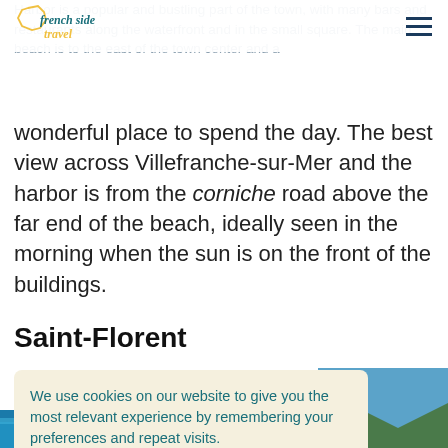French Side Travel — navigation header with logo and hamburger menu
Harbor is a popular and bustling part of the town, with many bars and restaurants along the waterfront and in the small square. The main beach is to the east of the town center and a wonderful place to spend the day. The best view across Villefranche-sur-Mer and the harbor is from the corniche road above the far end of the beach, ideally seen in the morning when the sun is on the front of the buildings.
Saint-Florent
We use cookies on our website to give you the most relevant experience by remembering your preferences and repeat visits.
[Figure (photo): Aerial photograph of Saint-Florent coastline showing turquoise water, sandy beach, green hills and mountains in the background]
[Figure (photo): Bottom strip — blue sea coastal photo partially visible at bottom of page]